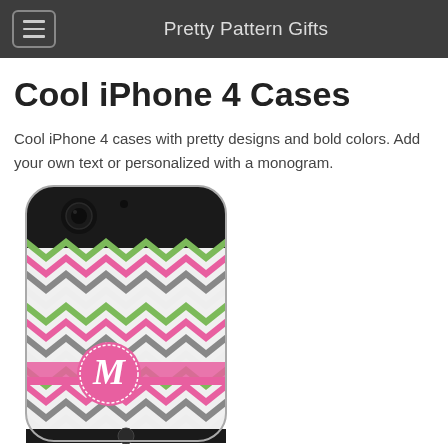Pretty Pattern Gifts
Cool iPhone 4 Cases
Cool iPhone 4 cases with pretty designs and bold colors. Add your own text or personalized with a monogram.
[Figure (photo): iPhone 4 case with colorful chevron pattern in green, pink, gray and white, featuring a pink monogram circle with letter M in the center]